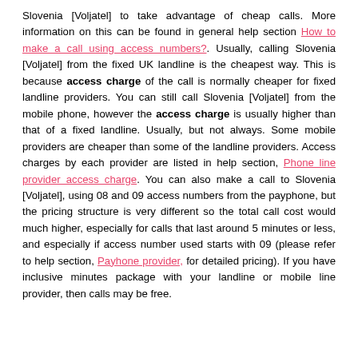Slovenia [Voljatel] to take advantage of cheap calls. More information on this can be found in general help section How to make a call using access numbers?. Usually, calling Slovenia [Voljatel] from the fixed UK landline is the cheapest way. This is because access charge of the call is normally cheaper for fixed landline providers. You can still call Slovenia [Voljatel] from the mobile phone, however the access charge is usually higher than that of a fixed landline. Usually, but not always. Some mobile providers are cheaper than some of the landline providers. Access charges by each provider are listed in help section, Phone line provider access charge. You can also make a call to Slovenia [Voljatel], using 08 and 09 access numbers from the payphone, but the pricing structure is very different so the total call cost would much higher, especially for calls that last around 5 minutes or less, and especially if access number used starts with 09 (please refer to help section, Payhone provider, for detailed pricing). If you have inclusive minutes package with your landline or mobile line provider, then calls may be free.